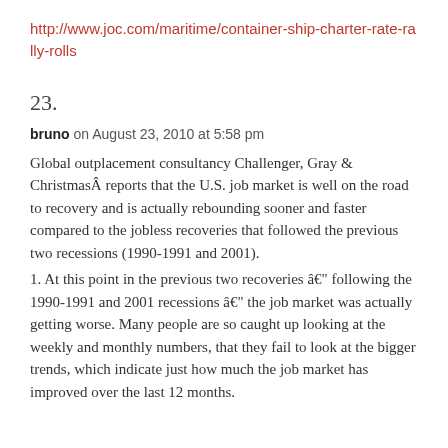http://www.joc.com/maritime/container-ship-charter-rate-rally-rolls
23.
bruno on August 23, 2010 at 5:58 pm
Global outplacement consultancy Challenger, Gray & ChristmasÂ reports that the U.S. job market is well on the road to recovery and is actually rebounding sooner and faster compared to the jobless recoveries that followed the previous two recessions (1990-1991 and 2001).
1. At this point in the previous two recoveries â€“ following the 1990-1991 and 2001 recessions â€“ the job market was actually getting worse. Many people are so caught up looking at the weekly and monthly numbers, that they fail to look at the bigger trends, which indicate just how much the job market has improved over the last 12 months.